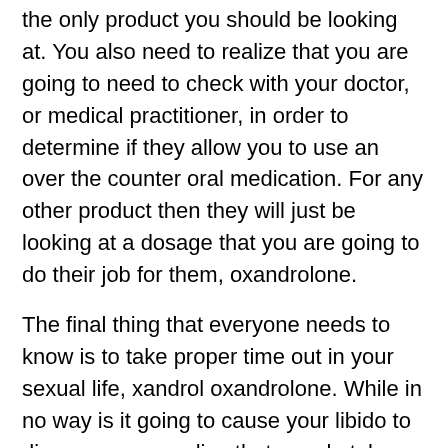the only product you should be looking at. You also need to realize that you are going to need to check with your doctor, or medical practitioner, in order to determine if they allow you to use an over the counter oral medication. For any other product then they will just be looking at a dosage that you are going to do their job for them, oxandrolone.
The final thing that everyone needs to know is to take proper time out in your sexual life, xandrol oxandrolone. While in no way is it going to cause your libido to disappear, we realize that people take a lot of time off because they are working to find ways to stay out from work and have sex, anavar para que sirve.
While HGH is a subcutaneous shot, Testosterone injections are intramuscular shots that create a depot of steroid hormone